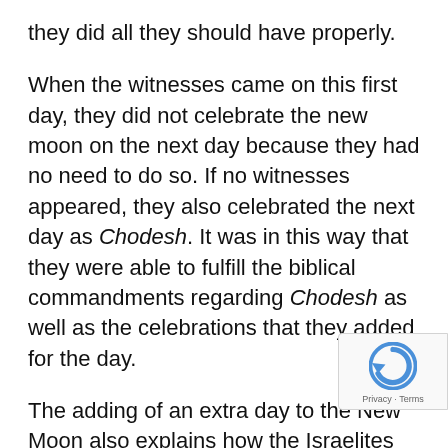they did all they should have properly.
When the witnesses came on this first day, they did not celebrate the new moon on the next day because they had no need to do so. If no witnesses appeared, they also celebrated the next day as Chodesh. It was in this way that they were able to fulfill the biblical commandments regarding Chodesh as well as the celebrations that they added for the day.
The adding of an extra day to the New Moon also explains how the Israelites were able to observe the day properly when the heavens were overcast and the moon was not visible. They would observe the rituals of the day on the